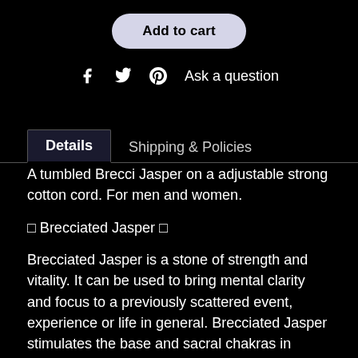Add to cart
Ask a question
Details | Shipping & Policies
A tumbled Brecci Jasper on a adjustable strong cotton cord. For men and women.
🔲 Brecciated Jasper 🔲
Brecciated Jasper is a stone of strength and vitality. It can be used to bring mental clarity and focus to a previously scattered event, experience or life in general. Brecciated Jasper stimulates the base and sacral chakras in addition to cleansing and stabilizing the auric